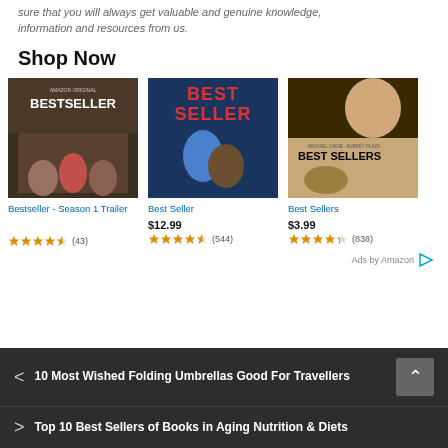sure that you will always get valuable and genuine knowledge, information and resources from us.
Shop Now
[Figure (other): Amazon product thumbnail - Bestseller Season 1 Trailer]
[Figure (other): Amazon product thumbnail - Best Seller]
[Figure (other): Amazon product thumbnail - Best Sellers]
Bestseller - Season 1 Trailer
Best Seller $12.99
Best Sellers $3.99
Ads by Amazon
10 Most Wished Folding Umbrellas Good For Travellers
Top 10 Best Sellers of Books in Aging Nutrition & Diets